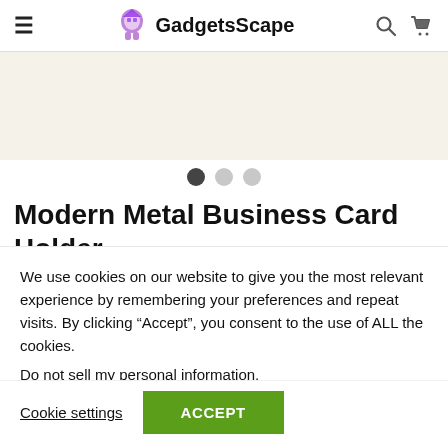GadgetsScape
[Figure (screenshot): Product image placeholder area with carousel dot indicators]
Modern Metal Business Card Holder
★★★★★ 6 Reviews
US $16.99
We use cookies on our website to give you the most relevant experience by remembering your preferences and repeat visits. By clicking "Accept", you consent to the use of ALL the cookies.
Do not sell my personal information.
Cookie settings   ACCEPT